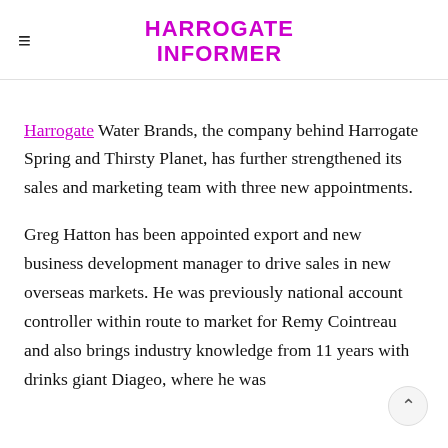HARROGATE INFORMER
Harrogate Water Brands, the company behind Harrogate Spring and Thirsty Planet, has further strengthened its sales and marketing team with three new appointments.
Greg Hatton has been appointed export and new business development manager to drive sales in new overseas markets. He was previously national account controller within route to market for Remy Cointreau and also brings industry knowledge from 11 years with drinks giant Diageo, where he was